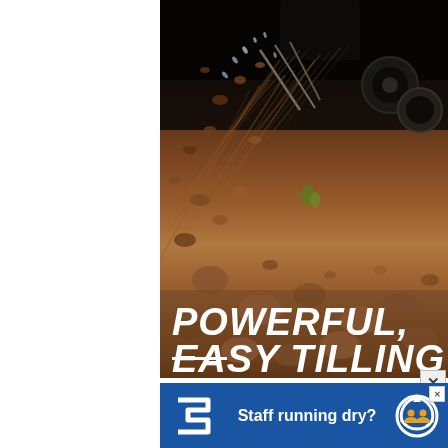[Figure (photo): A close-up action photo of a tiller/cultivator machine churning through dark reddish-brown soil, with dirt flying through the air. The bottom portion of the image has bold white italic text reading 'POWERFUL, EASY TILLING' over the soil background.]
[Figure (infographic): A blue banner advertisement with a white zigzag/arrow logo on the left, the text 'Staff running dry?' in white bold font in the center, and a circular recycling-style icon with orange people silhouettes on the right. A small 'x' close button appears in the top right corner of the banner.]